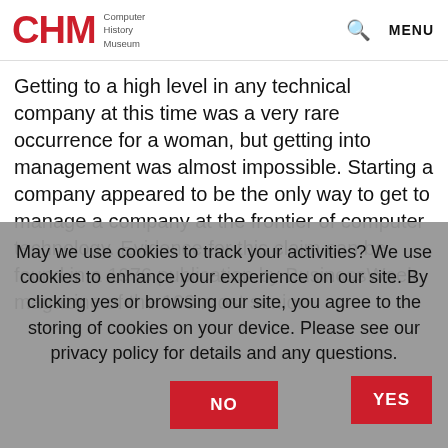CHM Computer History Museum
Getting to a high level in any technical company at this time was a very rare occurrence for a woman, but getting into management was almost impossible. Starting a company appeared to be the only way to get to manage a company at the frontier of computer technology. Evidence for this claim can be found in a 1976 publication by BusinessWeek magazine of the 100 most senior
May we use cookies to track your activities? We use cookies to enhance your experience on our site. By clicking yes or browsing our site, you agree to the storing of cookies on your device. Please see our privacy policy for details and any questions.
YES
NO